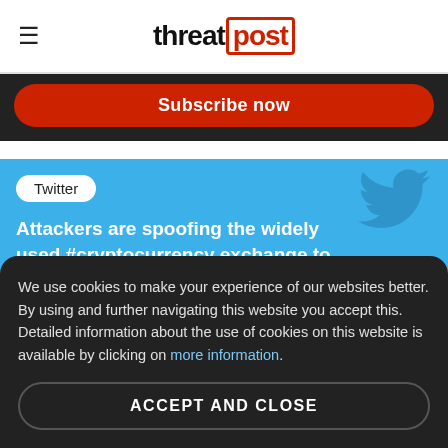threatpost
Subscribe now
[Figure (screenshot): Twitter card with Twitter bird logo and headline: Attackers are spoofing the widely used #cryptocurrency exchange to trick users into logging in so they can steal th...]
We use cookies to make your experience of our websites better. By using and further navigating this website you accept this. Detailed information about the use of cookies on this website is available by clicking on more information.
ACCEPT AND CLOSE